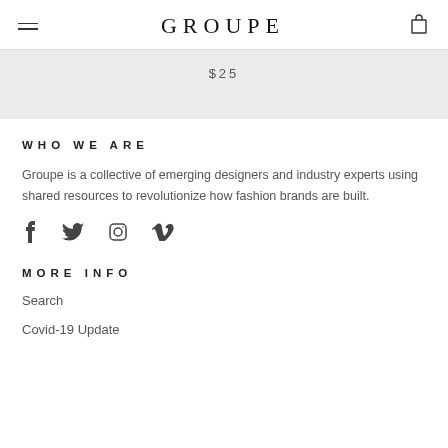GROUPE
$25
WHO WE ARE
Groupe is a collective of emerging designers and industry experts using shared resources to revolutionize how fashion brands are built.
[Figure (illustration): Social media icons: Facebook, Twitter, Instagram, Vimeo]
MORE INFO
Search
Covid-19 Update